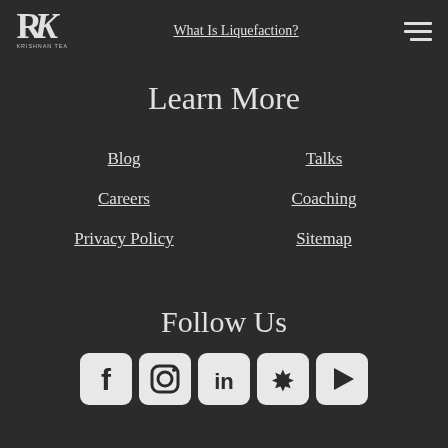Krishnan Team logo | What Is Liquefaction? | hamburger menu
Learn More
Blog
Careers
Privacy Policy
Talks
Coaching
Sitemap
Follow Us
[Figure (infographic): Social media icons: Facebook, Instagram, LinkedIn, Yelp, YouTube]